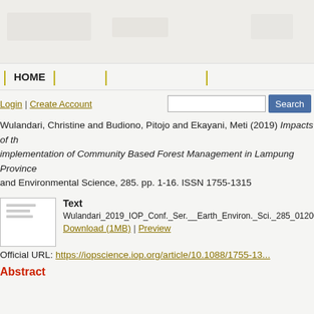[Figure (screenshot): Website header banner with light gray/beige background, partially visible logos and navigation elements]
HOME
Login | Create Account
Wulandari, Christine and Budiono, Pitojo and Ekayani, Meti (2019) Impacts of the Implementation of Community Based Forest Management in Lampung Province. IOP Conference Series: Earth and Environmental Science, 285. pp. 1-16. ISSN 1755-1315
Text
Wulandari_2019_IOP_Conf._Ser.__Earth_Environ._Sci._285_012006.pdf
Download (1MB) | Preview
Official URL: https://iopscience.iop.org/article/10.1088/1755-13...
Abstract